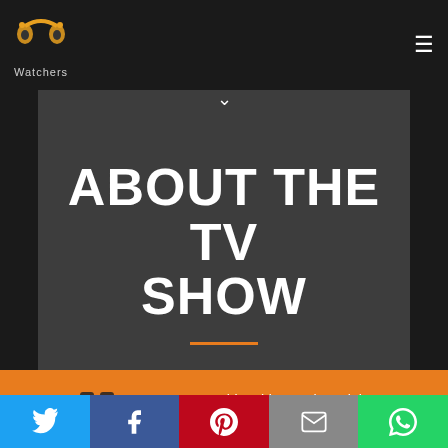PP Watchers logo and navigation
ABOUT THE TV SHOW
8 users are watching this TV Show right now!
[Figure (screenshot): Social share bar with Twitter, Facebook, Pinterest, Email, and WhatsApp buttons]